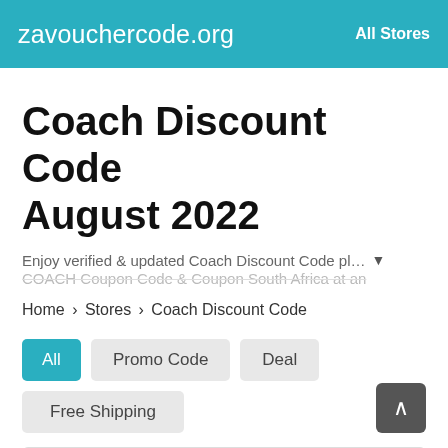zavouchercode.org   All Stores
Coach Discount Code August 2022
Enjoy verified & updated Coach Discount Code pl… ▼ COACH Coupon Code & Coupon South Africa at an
Home > Stores > Coach Discount Code
All
Promo Code
Deal
Free Shipping
Sales